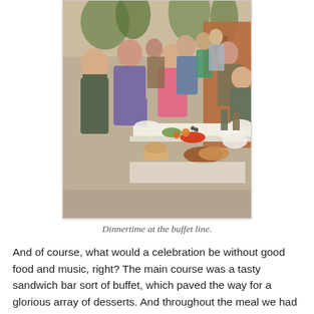[Figure (photo): Outdoor buffet line with many people serving themselves food from a long table covered with a white tablecloth. The table is loaded with various dishes including croissants, salads, and other foods. People are holding plates and serving themselves. The setting appears to be an outdoor gathering at dusk or evening.]
Dinnertime at the buffet line.
And of course, what would a celebration be without good food and music, right? The main course was a tasty sandwich bar sort of buffet, which paved the way for a glorious array of desserts. And throughout the meal we had different groups of musicians and singers taking turns strolling around and serenading us. (Did you know Swami